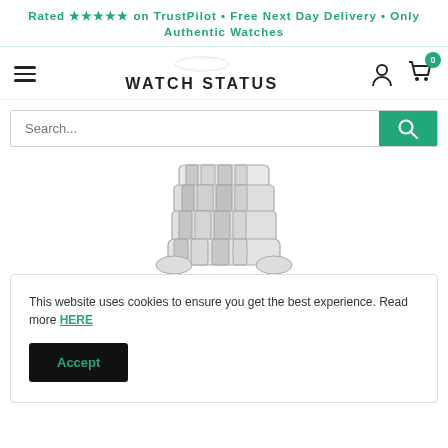Rated ★★★★★ on TrustPilot • Free Next Day Delivery • Only Authentic Watches
[Figure (logo): Watch Status logo with circular dotted ring above the text WATCH STATUS]
[Figure (illustration): Search bar with green search button]
[Figure (photo): Close-up product photograph of a watch bracelet clasp, steel, top-down view, partially cut off]
This website uses cookies to ensure you get the best experience. Read more HERE
Accept